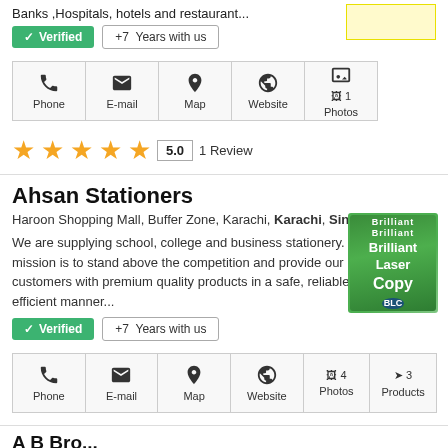Banks ,Hospitals, hotels and restaurant...
✓ Verified | +7 Years with us
[Figure (other): Row of contact icons: Phone, E-mail, Map, Website, Photos (1)]
★★★★★ 5.0 1 Review
Ahsan Stationers
Haroon Shopping Mall, Buffer Zone, Karachi, Karachi, Sindh
We are supplying school, college and business stationery. Our mission is to stand above the competition and provide our customers with premium quality products in a safe, reliable and efficient manner...
[Figure (photo): Green Brilliant Laser Copy paper box product image]
✓ Verified | +7 Years with us
[Figure (other): Row of contact icons: Phone, E-mail, Map, Website, Photos (4), Products (3)]
A B Bro...